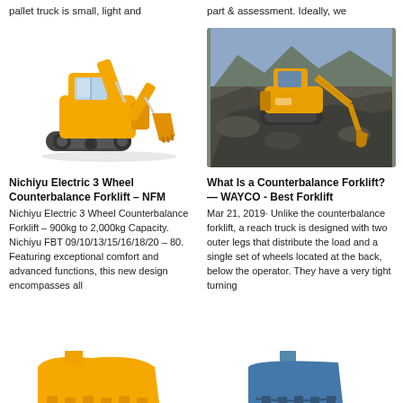pallet truck is small, light and
part & assessment. Ideally, we
[Figure (photo): Yellow mini excavator on white background, side view]
[Figure (photo): Large yellow excavator working on rocky terrain/hillside]
Nichiyu Electric 3 Wheel Counterbalance Forklift – NFM
Nichiyu Electric 3 Wheel Counterbalance Forklift – 900kg to 2,000kg Capacity. Nichiyu FBT 09/10/13/15/16/18/20 – 80. Featuring exceptional comfort and advanced functions, this new design encompasses all
What Is a Counterbalance Forklift? — WAYCO - Best Forklift
Mar 21, 2019· Unlike the counterbalance forklift, a reach truck is designed with two outer legs that distribute the load and a single set of wheels located at the back, below the operator. They have a very tight turning
[Figure (photo): Yellow excavator bucket/attachment at bottom left, partially visible]
[Figure (photo): Blue/grey excavator bucket at bottom right, partially visible]